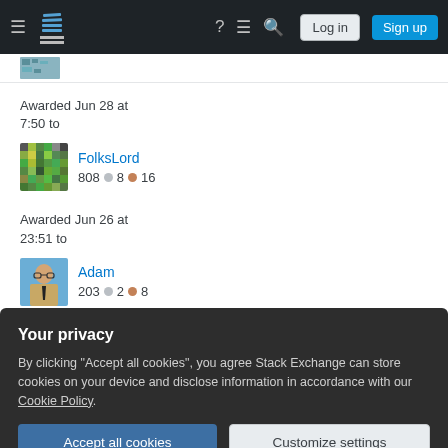Stack Exchange navigation bar with Log in and Sign up buttons
Awarded Jun 28 at 7:50 to
FolksLord 808 ● 8 ● 16
Awarded Jun 26 at 23:51 to
Adam 203 ● 2 ● 8
Awarded Jun 19 at
Your privacy
By clicking "Accept all cookies", you agree Stack Exchange can store cookies on your device and disclose information in accordance with our Cookie Policy.
Accept all cookies
Customize settings
Christina 201 ● 1 ● 4